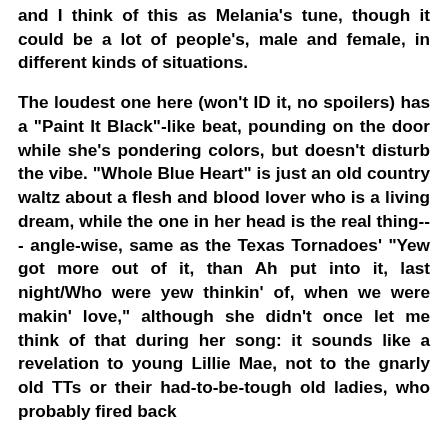and I think of this as Melania's tune, though it could be a lot of people's, male and female, in different kinds of situations.
The loudest one here (won't ID it, no spoilers) has a "Paint It Black"-like beat, pounding on the door while she's pondering colors, but doesn't disturb the vibe. "Whole Blue Heart" is just an old country waltz about a flesh and blood lover who is a living dream, while the one in her head is the real thing--- angle-wise, same as the Texas Tornadoes' "Yew got more out of it, than Ah put into it, last night/Who were yew thinkin' of, when we were makin' love," although she didn't once let me think of that during her song: it sounds like a revelation to young Lillie Mae, not to the gnarly old TTs or their had-to-be-tough old ladies, who probably fired back